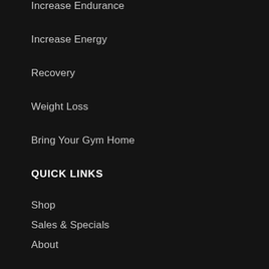Increase Endurance
Increase Energy
Recovery
Weight Loss
Bring Your Gym Home
QUICK LINKS
Shop
Sales & Specials
About
FAQS
Blog
Branches